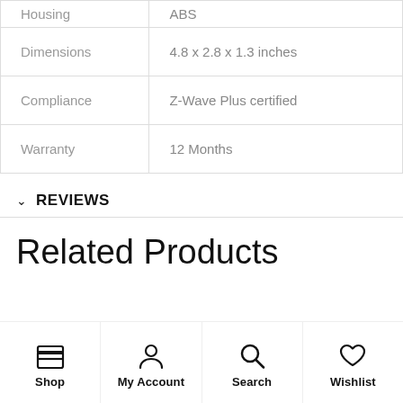| Property | Value |
| --- | --- |
| Housing | ABS |
| Dimensions | 4.8 x 2.8 x 1.3 inches |
| Compliance | Z-Wave Plus certified |
| Warranty | 12 Months |
REVIEWS
Related Products
Shop | My Account | Search | Wishlist